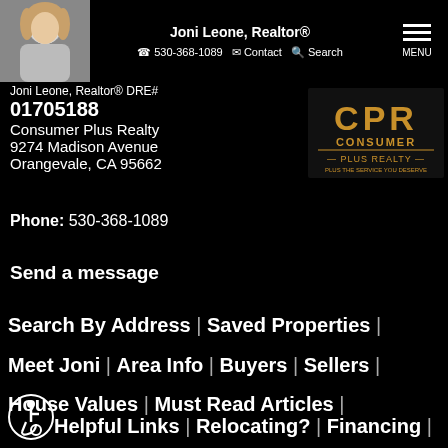Joni Leone, Realtor® | 530-368-1089 | Contact | Search | MENU
Joni Leone, Realtor® DRE# 01705188
Consumer Plus Realty
9274 Madison Avenue
Orangevale, CA 95662
[Figure (logo): CPR Consumer Plus Realty logo — gold/brown text on dark background]
Phone: 530-368-1089
Send a message
Search By Address | Saved Properties | Meet Joni | Area Info | Buyers | Sellers | House Values | Must Read Articles | Helpful Links | Relocating? | Financing |